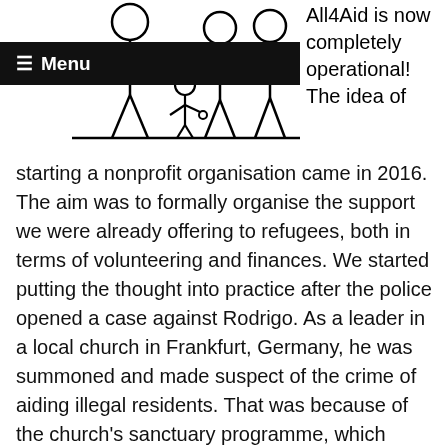[Figure (illustration): Simple line drawing of stick figure people (adults and child) standing together]
≡ Menu
All4Aid is now completely operational! The idea of starting a nonprofit organisation came in 2016. The aim was to formally organise the support we were already offering to refugees, both in terms of volunteering and finances. We started putting the thought into practice after the police opened a case against Rodrigo. As a leader in a local church in Frankfurt, Germany, he was summoned and made suspect of the crime of aiding illegal residents. That was because of the church's sanctuary programme, which housed and protected asylum seekers under the principles of the German sanctuary tradition